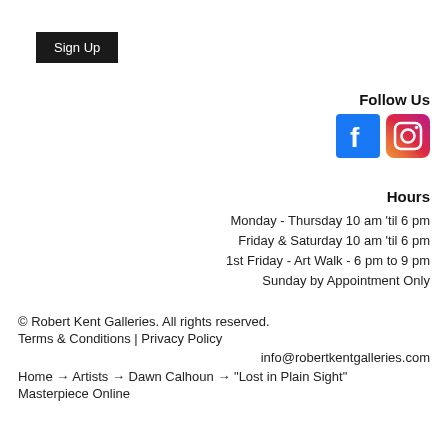Sign Up
Follow Us
[Figure (illustration): Facebook and Instagram social media icons side by side]
Hours
Monday - Thursday 10 am 'til 6 pm
Friday & Saturday 10 am 'til 6 pm
1st Friday - Art Walk - 6 pm to 9 pm
Sunday by Appointment Only
© Robert Kent Galleries. All rights reserved.
Terms & Conditions | Privacy Policy
info@robertkentgalleries.com
Home → Artists → Dawn Calhoun → "Lost in Plain Sight"
Masterpiece Online